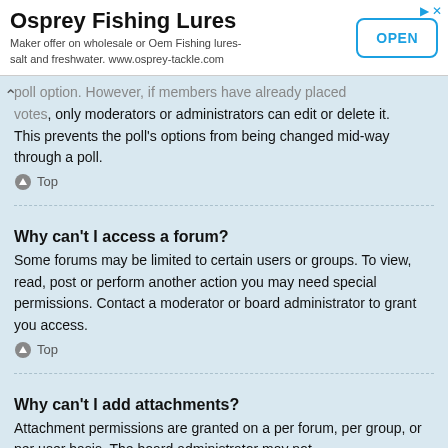[Figure (other): Advertisement banner for Osprey Fishing Lures with title, subtitle text, and OPEN button]
poll option. However, if members have already placed votes, only moderators or administrators can edit or delete it. This prevents the poll's options from being changed mid-way through a poll.
Top
Why can't I access a forum?
Some forums may be limited to certain users or groups. To view, read, post or perform another action you may need special permissions. Contact a moderator or board administrator to grant you access.
Top
Why can't I add attachments?
Attachment permissions are granted on a per forum, per group, or per user basis. The board administrator may not